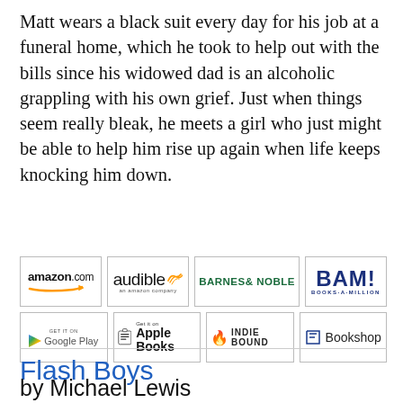Matt wears a black suit every day for his job at a funeral home, which he took to help out with the bills since his widowed dad is an alcoholic grappling with his own grief. Just when things seem really bleak, he meets a girl who just might be able to help him rise up again when life keeps knocking him down.
[Figure (logo): Grid of 8 retailer logos: amazon.com, audible, BARNES & NOBLE, BAM! BOOKS-A-MILLION, Google Play, Apple Books, IndieBound, Bookshop]
Flash Boys
by Michael Lewis